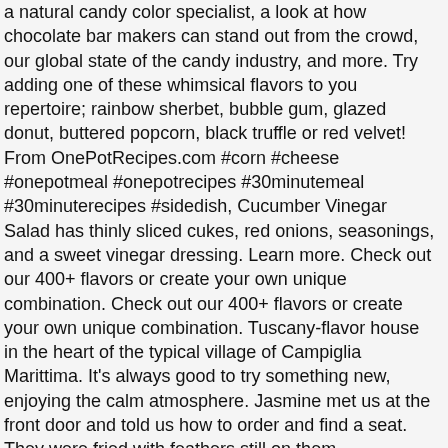a natural candy color specialist, a look at how chocolate bar makers can stand out from the crowd, our global state of the candy industry, and more. Try adding one of these whimsical flavors to you repertoire; rainbow sherbet, bubble gum, glazed donut, buttered popcorn, black truffle or red velvet! From OnePotRecipes.com #corn #cheese #onepotmeal #onepotrecipes #30minutemeal #30minuterecipes #sidedish, Cucumber Vinegar Salad has thinly sliced cukes, red onions, seasonings, and a sweet vinegar dressing. Learn more. Check out our 400+ flavors or create your own unique combination. Check out our 400+ flavors or create your own unique combination. Tuscany-flavor house in the heart of the typical village of Campiglia Marittima. It's always good to try something new, enjoying the calm atmosphere. Jasmine met us at the front door and told us how to order and find a seat. They were fried with feathers still on them.
For $48 I could make it at home myself. Enjoy the quant indoor dining or…, "The food and people are awesome! This healthy cucumber salad is crisp, refreshing, easy, and low carb. Homemade with simple ingredients and ready in just 30 minutes. We have a large, extensive library of savory flavor profiles. We are committed to developing creative solutions for our customers. The lamb chops were tasty but the broccoli was added to the plate with a lot of water, so my lamb was sitting in the water. 2019 flavor trends: Violets, jackfruit and pink peppercorns. FONA